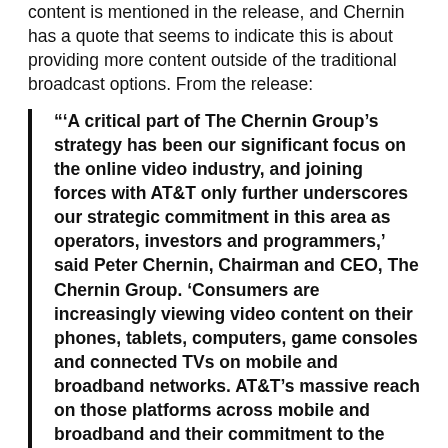content is mentioned in the release, and Chernin has a quote that seems to indicate this is about providing more content outside of the traditional broadcast options. From the release:
"'A critical part of The Chernin Group's strategy has been our significant focus on the online video industry, and joining forces with AT&T only further underscores our strategic commitment in this area as operators, investors and programmers,' said Peter Chernin, Chairman and CEO, The Chernin Group. 'Consumers are increasingly viewing video content on their phones, tablets, computers, game consoles and connected TVs on mobile and broadband networks. AT&T's massive reach on those platforms across mobile and broadband and their commitment to the online video space make them the perfect fit for this venture with us.'"
Make me all that into a quote that seem to indicate...